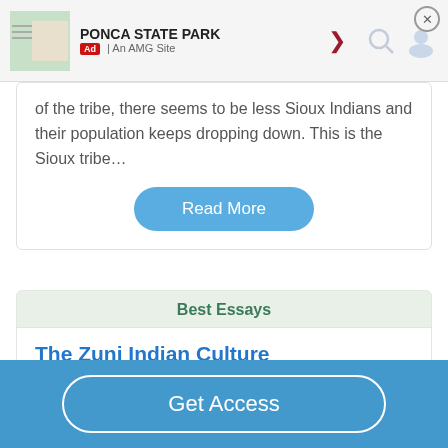PONCA STATE PARK | Ad | An AMG Site
of the tribe, there seems to be less Sioux Indians and their population keeps dropping down. This is the Sioux tribe…
Read More
Best Essays
The Zuni Indian Culture
1431 Words
6 Pages
The Zuni individuals, as other Pueblo Indians, are accepted
Get Access